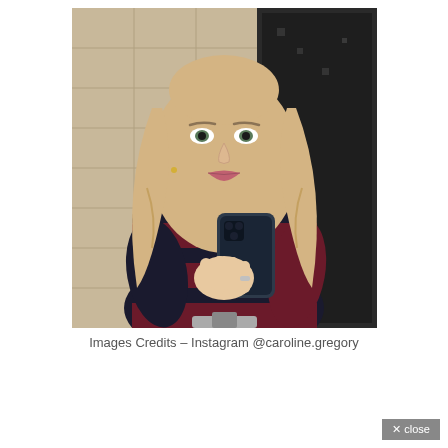[Figure (photo): A young blonde woman taking a mirror selfie in a bathroom. She is wearing a dark navy and burgundy striped knit sweater and holding a dark-cased iPhone. She has long wavy blonde hair and is standing in front of beige tile and dark tile walls.]
Images Credits – Instagram @caroline.gregory